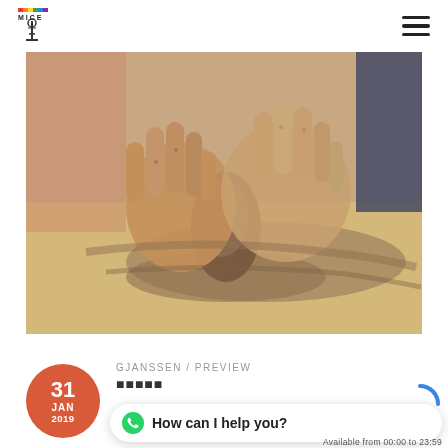[Figure (logo): MICE colorful logo with microscope icon]
[Figure (photo): Close-up photo of hands working with clay on a pottery surface]
31 JAN 2019
GJANSSEN / PREVIEW
★★★★★
How can I help you?
Available from 00:00 to 23:59